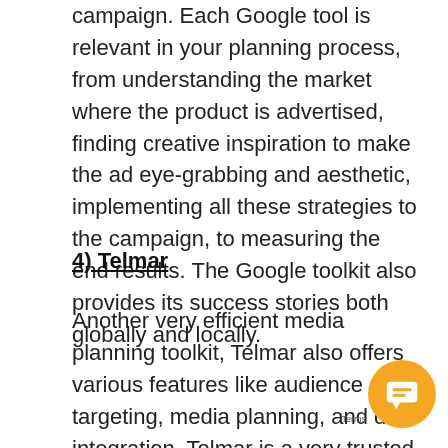campaign. Each Google tool is relevant in your planning process, from understanding the market where the product is advertised, finding creative inspiration to make the ad eye-grabbing and aesthetic, implementing all these strategies to the campaign, to measuring the end results. The Google toolkit also provides its success stories both globally and locally.
4) Telmar
Another very efficient media planning toolkit, Telmar also offers various features like audience targeting, media planning, and da integration. Telmar is a very trusted media